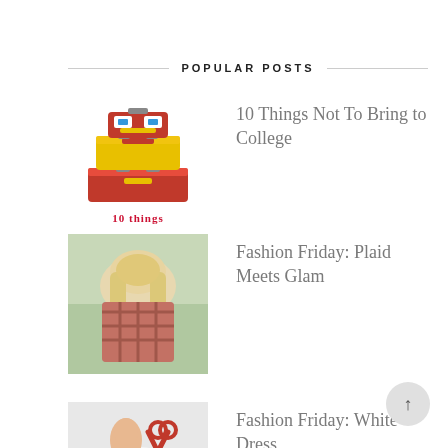POPULAR POSTS
[Figure (illustration): Pixel-art style stacked luggage/suitcases icon in red and yellow]
10 things
10 Things Not To Bring to College
[Figure (photo): Woman with blonde hair wearing plaid shirt, shot from behind]
Fashion Friday: Plaid Meets Glam
[Figure (photo): Close-up of white dress with red scissors and accessories]
Fashion Friday: White Dress
[Figure (photo): Top 10 label image with craft supplies]
Top 10 Most Forgotten